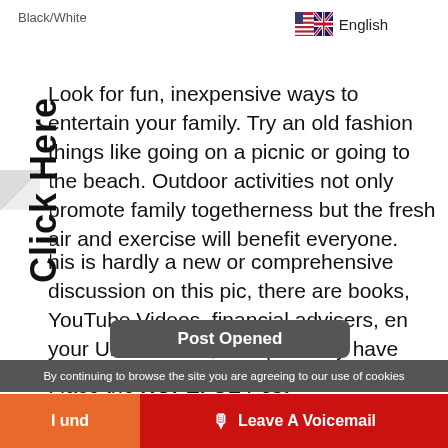Black/White
[Figure (illustration): UK/US combined flag icon with 'English' text label]
Look for fun, inexpensive ways to entertain your family. Try an old fashion things like going on a picnic or going to the beach. Outdoor activities not only promote family togetherness but the fresh air and exercise will benefit everyone.
This is hardly a new or comprehensive discussion on this topic, there are books, YouTube Videos, financial advisers, even your Uncle Guido, who probably have better advice on this topic than I do.
I face the HOPEFUL Post One retirement and the joy of
[Figure (screenshot): Rotated 'Click Here' vertical sidebar label on left edge of page]
[Figure (screenshot): Popup bar reading 'Post Opened']
By continuing to browse the site you are agreeing to our use of cookies
I und
Leave A Voicemail